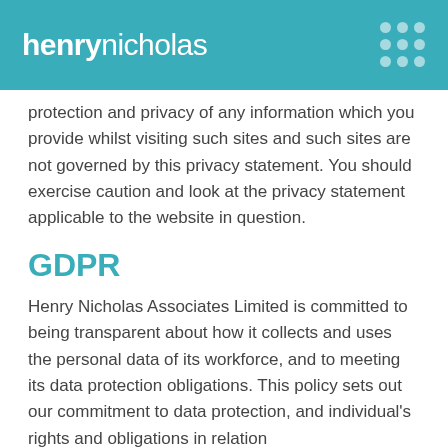henrynicholas
protection and privacy of any information which you provide whilst visiting such sites and such sites are not governed by this privacy statement. You should exercise caution and look at the privacy statement applicable to the website in question.
GDPR
Henry Nicholas Associates Limited is committed to being transparent about how it collects and uses the personal data of its workforce, and to meeting its data protection obligations. This policy sets out our commitment to data protection, and individual's rights and obligations in relation